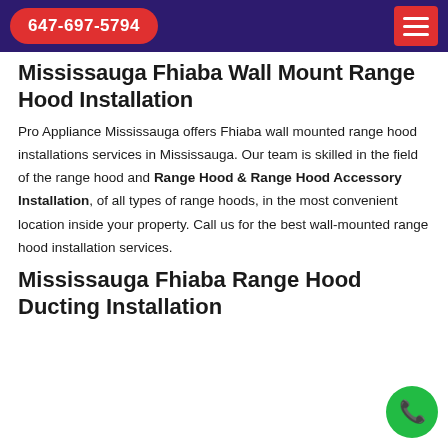647-697-5794
Mississauga Fhiaba Wall Mount Range Hood Installation
Pro Appliance Mississauga offers Fhiaba wall mounted range hood installations services in Mississauga. Our team is skilled in the field of the range hood and Range Hood & Range Hood Accessory Installation, of all types of range hoods, in the most convenient location inside your property. Call us for the best wall-mounted range hood installation services.
Mississauga Fhiaba Range Hood Ducting Installation